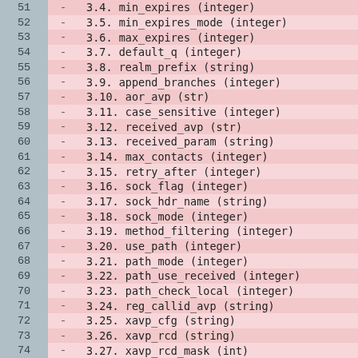51  -  3.4. min_expires (integer)
52  -  3.5. min_expires_mode (integer)
53  -  3.6. max_expires (integer)
54  -  3.7. default_q (integer)
55  -  3.8. realm_prefix (string)
56  -  3.9. append_branches (integer)
57  -  3.10. aor_avp (str)
58  -  3.11. case_sensitive (integer)
59  -  3.12. received_avp (str)
60  -  3.13. received_param (string)
61  -  3.14. max_contacts (integer)
62  -  3.15. retry_after (integer)
63  -  3.16. sock_flag (integer)
64  -  3.17. sock_hdr_name (string)
65  -  3.18. sock_mode (integer)
66  -  3.19. method_filtering (integer)
67  -  3.20. use_path (integer)
68  -  3.21. path_mode (integer)
69  -  3.22. path_use_received (integer)
70  -  3.23. path_check_local (integer)
71  -  3.24. reg_callid_avp (string)
72  -  3.25. xavp_cfg (string)
73  -  3.26. xavp_rcd (string)
74  -  3.27. xavp_rcd_mask (int)